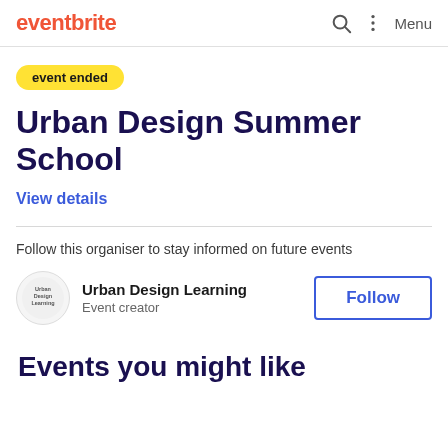eventbrite  Menu
event ended
Urban Design Summer School
View details
Follow this organiser to stay informed on future events
Urban Design Learning
Event creator
Follow
Events you might like